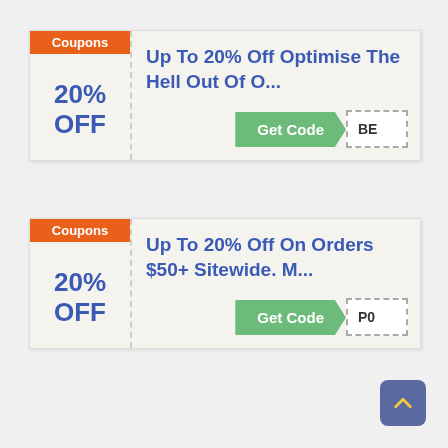Coupons
20% OFF
Up To 20% Off Optimise The Hell Out Of O...
Get Code  BE
Coupons
20% OFF
Up To 20% Off On Orders $50+ Sitewide. M...
Get Code  P0
[Figure (other): Scroll to top button with upward chevron arrow icon]